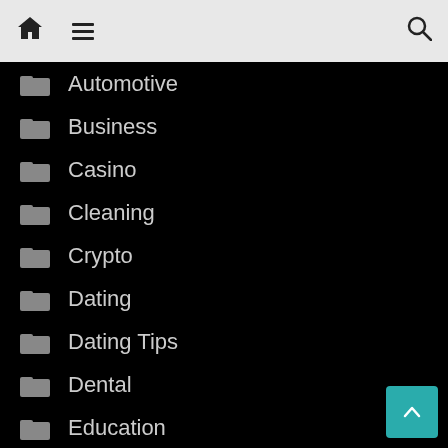Navigation header with home icon, menu icon, search icon
Automotive
Business
Casino
Cleaning
Crypto
Dating
Dating Tips
Dental
Education
Entertainment
Fashion